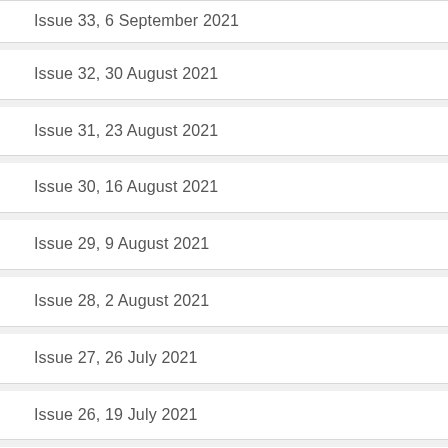Issue 33, 6 September 2021
Issue 32, 30 August 2021
Issue 31, 23 August 2021
Issue 30, 16 August 2021
Issue 29, 9 August 2021
Issue 28, 2 August 2021
Issue 27, 26 July 2021
Issue 26, 19 July 2021
Issue 25, 12 July 2021